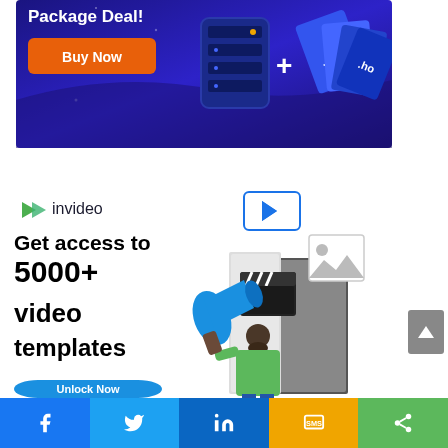[Figure (illustration): Web hosting package deal advertisement banner with dark blue/purple background, showing a 'Buy Now' orange button, a server rack illustration, and domain extensions (.com, .co, .biz, .ho) as card-like objects with a plus sign]
[Figure (illustration): InVideo advertisement showing logo with green arrow icon and 'invideo' text, headline 'Get access to 5000+ video templates', a play button box outline, illustrated character with megaphone at a doorway with film clapperboard and image icons, and partially visible 'Unlock Now' teal button]
[Figure (infographic): Social sharing bar at bottom with icons for Facebook (blue), Twitter (light blue), LinkedIn (dark blue), SMS (yellow/orange), and Share (green)]